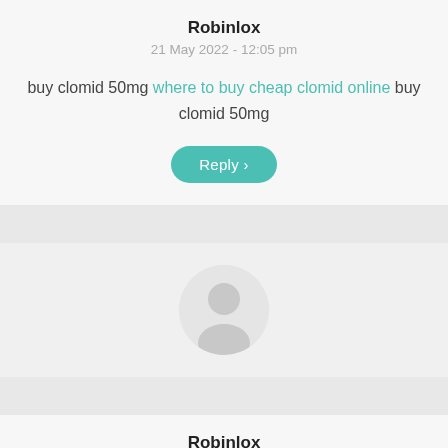Robinlox
21 May 2022 - 12:05 pm
buy clomid 50mg where to buy cheap clomid online buy clomid 50mg
[Figure (illustration): User avatar placeholder icon (person silhouette in a circle)]
Robinlox
22 May 2022 - 4:05 pm